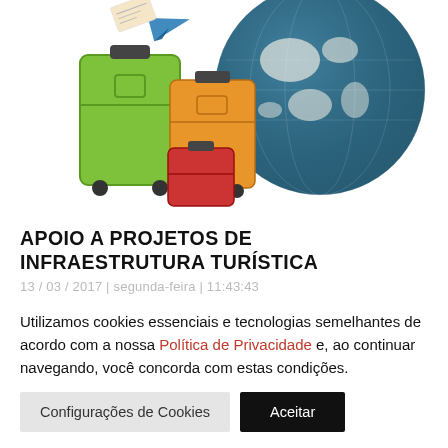[Figure (illustration): Travel illustration showing three colorful suitcases (green, orange, red) in front of a globe, with a paper airplane and boarding pass, on a white background.]
APOIO A PROJETOS DE INFRAESTRUTURA TURÍSTICA
13 / 03 / 2017 | segunda-feira | 11:43:43
Utilizamos cookies essenciais e tecnologias semelhantes de acordo com a nossa Política de Privacidade e, ao continuar navegando, você concorda com estas condições.
Configurações de Cookies | Aceitar